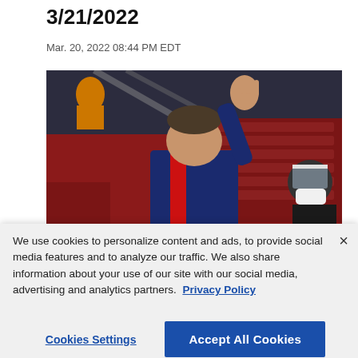3/21/2022
Mar. 20, 2022 08:44 PM EDT
[Figure (photo): A basketball coach in a dark navy and red jacket with his right arm raised, pointing upward with fingers spread. Behind him are dark red arena seats and another person wearing a face shield and mask.]
We use cookies to personalize content and ads, to provide social media features and to analyze our traffic. We also share information about your use of our site with our social media, advertising and analytics partners. Privacy Policy
Cookies Settings
Accept All Cookies